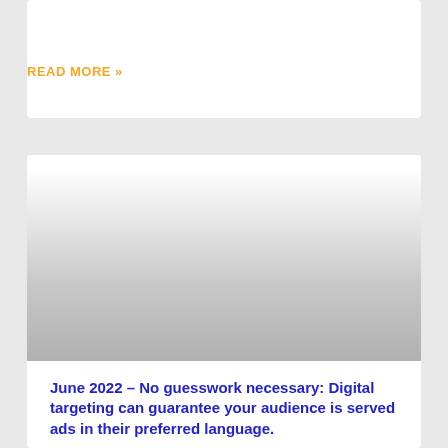READ MORE »
[Figure (photo): Placeholder image area with gradient from white to gray]
June 2022 – No guesswork necessary: Digital targeting can guarantee your audience is served ads in their preferred language.